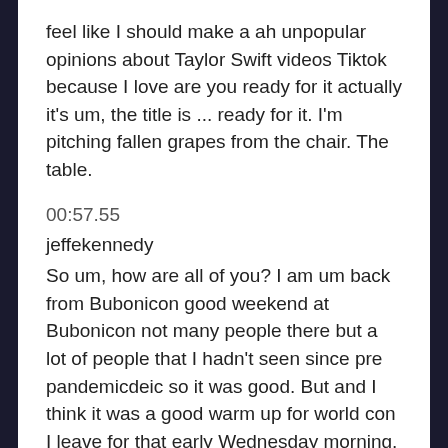feel like I should make a ah unpopular opinions about Taylor Swift videos Tiktok because I love are you ready for it actually it's um, the title is ... ready for it. I'm pitching fallen grapes from the chair. The table.
00:57.55
jeffekennedy
So um, how are all of you? I am um back from Bubonicon good weekend at Bubonicon not many people there but a lot of people that I hadn't seen since pre pandemicdeic so it was good. But and I think it was a good warm up for world con I leave for that early Wednesday morning. So probably no podcasts Thursday and Friday this week unless I get a wild hair to do a